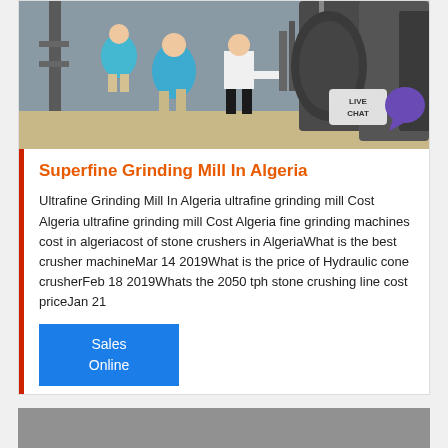[Figure (photo): Industrial machinery/grinding mill facility with workers in blue and white shirts inspecting large metal equipment. Live chat bubble in top right corner.]
Superfine Grinding Mill In Algeria
Ultrafine Grinding Mill In Algeria ultrafine grinding mill Cost Algeria ultrafine grinding mill Cost Algeria fine grinding machines cost in algeriacost of stone crushers in AlgeriaWhat is the best crusher machineMar 14 2019What is the price of Hydraulic cone crusherFeb 18 2019Whats the 2050 tph stone crushing line cost priceJan 21
Sales
Online
[Figure (photo): Partial view of another industrial machinery photo at the bottom of the page.]